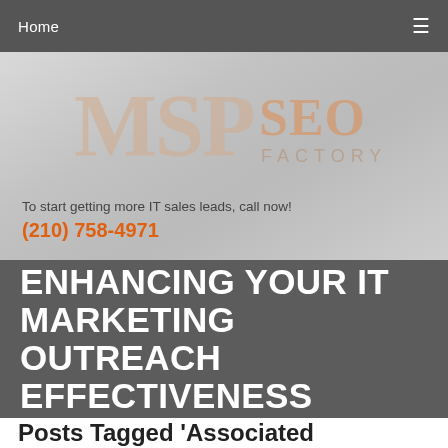Home  ≡
[Figure (logo): MSP SEO Factory logo — 'MSP' in large light-peach serif letters, 'SEO' in pale orange, 'FACTORY' in small spaced caps, on a grey gradient background]
To start getting more IT sales leads, call now!
(210) 758-4971
ENHANCING YOUR IT MARKETING OUTREACH EFFECTIVENESS
Posts Tagged 'Associated